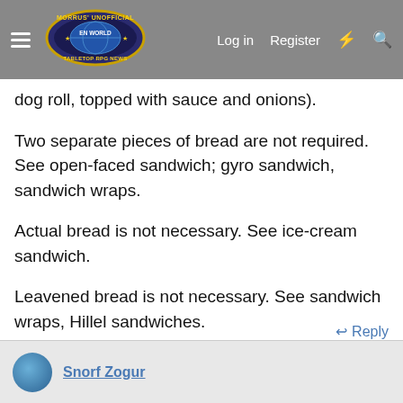Morrus' Unofficial Tabletop RPG News — Log in | Register
dog roll, topped with sauce and onions).
Two separate pieces of bread are not required. See open-faced sandwich; gyro sandwich, sandwich wraps.
Actual bread is not necessary. See ice-cream sandwich.
Leavened bread is not necessary. See sandwich wraps, Hillel sandwiches.
Indeed, tacos and burritos are sandwiches, as are hamburgers, pierogi, gyoza, and even pizza (an open-faced sandwich).
Reply
Snorf Zogur